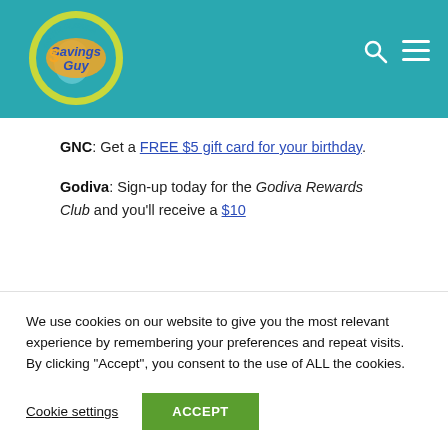[Figure (logo): South Florida Savings Guy circular logo with orange and teal colors]
GNC: Get a FREE $5 gift card for your birthday.
Godiva: Sign-up today for the Godiva Rewards Club and you'll receive a $10
We use cookies on our website to give you the most relevant experience by remembering your preferences and repeat visits. By clicking “Accept”, you consent to the use of ALL the cookies.
Cookie settings
ACCEPT